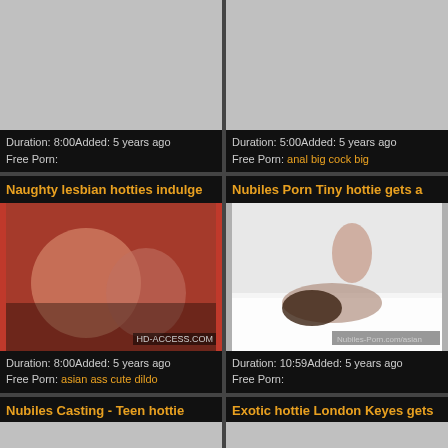[Figure (photo): Gray placeholder thumbnail, top left video card]
Duration: 8:00Added: 5 years ago
Free Porn:
[Figure (photo): Gray placeholder thumbnail, top right video card]
Duration: 5:00Added: 5 years ago
Free Porn: anal big cock big
Naughty lesbian hotties indulge
[Figure (photo): Video thumbnail showing two women, orange background, HD-ACCESS.COM watermark]
Duration: 8:00Added: 5 years ago
Free Porn: asian ass cute dildo
Nubiles Porn Tiny hottie gets a
[Figure (photo): Video thumbnail showing couple on bed, Nubiles-Porn.com watermark]
Duration: 10:59Added: 5 years ago
Free Porn:
Nubiles Casting - Teen hottie
Exotic hottie London Keyes gets